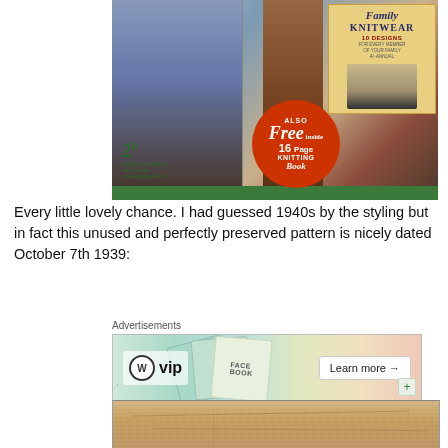[Figure (photo): Vintage knitting pattern magazine cover from 1939 showing fashion figures, a 'Family Knitwear' booklet, a red circular badge reading 'Also Free inside 16 Page Knitting Book', and a price of 2d]
Every little lovely chance. I had guessed 1940s by the styling but in fact this unused and perfectly preserved pattern is nicely dated October 7th 1939:
[Figure (screenshot): WordPress VIP advertisement banner with WP logo, 'vip' text, decorative overlapping cards/books in background, and 'Learn more →' button. Label 'Advertisements' above. 'REPORT THIS AD' text below.]
[Figure (photo): Partial view of an aged, brownish paper envelope or wrapper, creased and worn, showing the back/inside of a vintage knitting pattern packet]